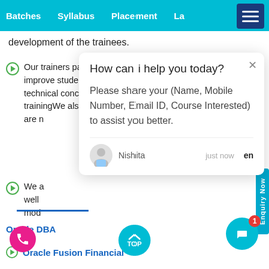Batches  Syllabus  Placement  La...
development of the trainees.
Our trainers pay you individual attention.To improve students' knowledge of complex technical concepts are passed on through simple trainingWe also Provide Inter... are n...
We a... well... mod...
How can i help you today?
Please share your (Name, Mobile Number, Email ID, Course Interested) to assist you better.
Nishita   just now   en
Oracle DBA
Oracle Fusion Financial